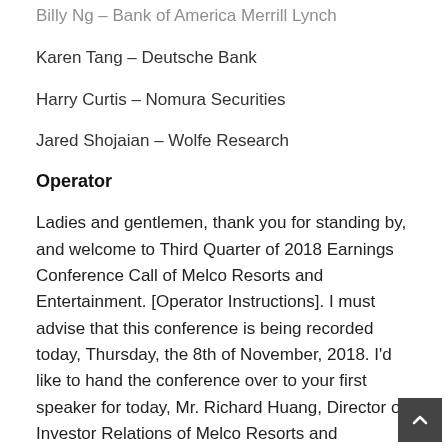Billy Ng – Bank of America Merrill Lynch
Karen Tang – Deutsche Bank
Harry Curtis – Nomura Securities
Jared Shojaian – Wolfe Research
Operator
Ladies and gentlemen, thank you for standing by, and welcome to Third Quarter of 2018 Earnings Conference Call of Melco Resorts and Entertainment. [Operator Instructions]. I must advise that this conference is being recorded today, Thursday, the 8th of November, 2018. I'd like to hand the conference over to your first speaker for today, Mr. Richard Huang, Director of Investor Relations of Melco Resorts and Entertainment Limited. Thank you. Please go ahead, sir.
Richard Hu...